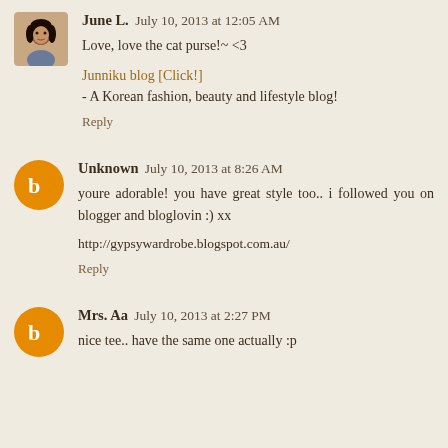[Figure (photo): Small profile photo of a woman (June L.) with dark hair, appearing to be a rounded-corner thumbnail avatar]
June L. July 10, 2013 at 12:05 AM
Love, love the cat purse!~ <3
Junniku blog [Click!]
- A Korean fashion, beauty and lifestyle blog!
Reply
[Figure (logo): Orange circle with white Blogger 'B' icon — default Blogger avatar]
Unknown July 10, 2013 at 8:26 AM
youre adorable! you have great style too.. i followed you on blogger and bloglovin :) xx
http://gypsywardrobe.blogspot.com.au/
Reply
[Figure (logo): Orange circle with white Blogger 'B' icon — default Blogger avatar]
Mrs. Aa July 10, 2013 at 2:27 PM
nice tee.. have the same one actually :p